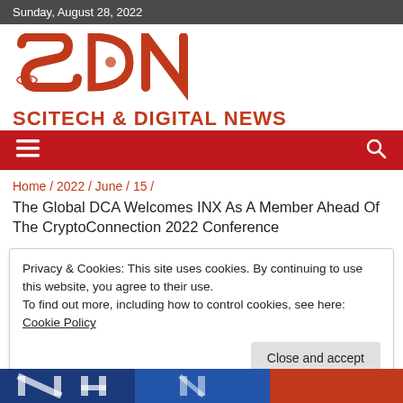Sunday, August 28, 2022
[Figure (logo): SDN Scitech & Digital News logo in orange]
SCITECH & DIGITAL NEWS
Home / 2022 / June / 15 /
The Global DCA Welcomes INX As A Member Ahead Of The CryptoConnection 2022 Conference
Privacy & Cookies: This site uses cookies. By continuing to use this website, you agree to their use.
To find out more, including how to control cookies, see here: Cookie Policy
Close and accept
[Figure (photo): Bottom partial banner image with blue and red tones]